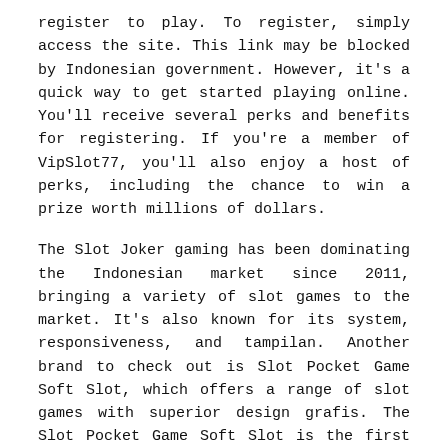register to play. To register, simply access the site. This link may be blocked by Indonesian government. However, it's a quick way to get started playing online. You'll receive several perks and benefits for registering. If you're a member of VipSlot77, you'll also enjoy a host of perks, including the chance to win a prize worth millions of dollars.
The Slot Joker gaming has been dominating the Indonesian market since 2011, bringing a variety of slot games to the market. It's also known for its system, responsiveness, and tampilan. Another brand to check out is Slot Pocket Game Soft Slot, which offers a range of slot games with superior design grafis. The Slot Pocket Game Soft Slot is the first choice of many Indonesians, and is an example of a quality brand with great value for your money.
Fire Strike 2 is the sequel to the popular video slot released by Pragmatic Play. This slot has many of the same features, including free spins, sticky symbols, and bonus rounds. The graphics are super-vibrant, and the soundtrack is upbeat techno. The game's mechanics are very simple and easy to understand. If you've played Fire Strike, you'll know it has the winning potential to keep you playing for a long time.